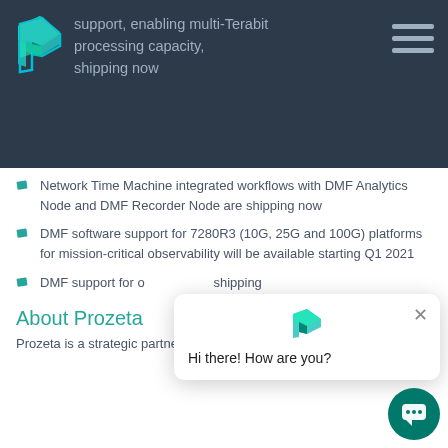support, enabling multi-Terabit processing capacity, shipping now
Network Time Machine integrated workflows with DMF Analytics Node and DMF Recorder Node are shipping now
DMF software support for 7280R3 (10G, 25G and 100G) platforms for mission-critical observability will be available starting Q1 2021
DMF support for o... shipping
About Prozeta
Prozeta is a strategic partner of customers that treat...